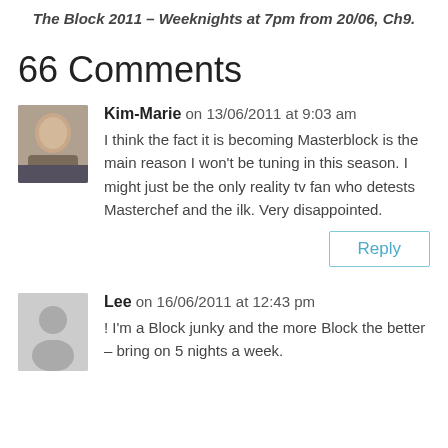The Block 2011 – Weeknights at 7pm from 20/06, Ch9.
66 Comments
Kim-Marie on 13/06/2011 at 9:03 am
I think the fact it is becoming Masterblock is the main reason I won't be tuning in this season. I might just be the only reality tv fan who detests Masterchef and the ilk. Very disappointed.
Reply
Lee on 16/06/2011 at 12:43 pm
! I'm a Block junky and the more Block the better – bring on 5 nights a week.